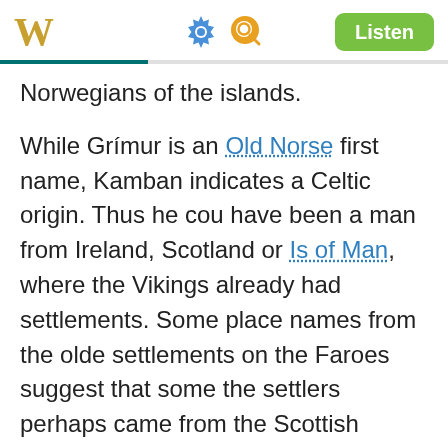W  [gear] [search]  Listen
Norwegians of the islands.
While Grímur is an Old Norse first name, Kamban indicates a Celtic origin. Thus he could have been a man from Ireland, Scotland or Isle of Man, where the Vikings already had settlements. Some place names from the oldest settlements on the Faroes suggest that some of the settlers perhaps came from the Scottish islands and the British coast.